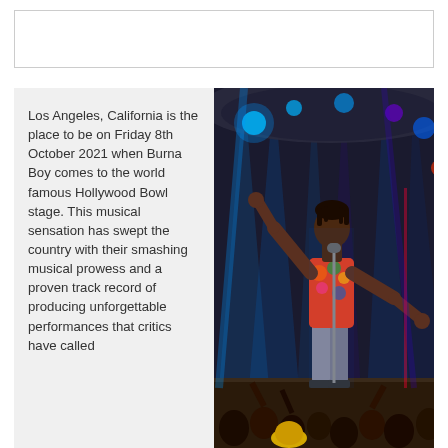[Figure (other): Empty white box with border at top of page]
Los Angeles, California is the place to be on Friday 8th October 2021 when Burna Boy comes to the world famous Hollywood Bowl stage. This musical sensation has swept the country with their smashing musical prowess and a proven track record of producing unforgettable performances that critics have called
[Figure (photo): Concert photo of Burna Boy performing on stage at Hollywood Bowl, wearing a colorful floral shirt and grey pants, arms raised, with blue stage lighting and crowd visible in background]